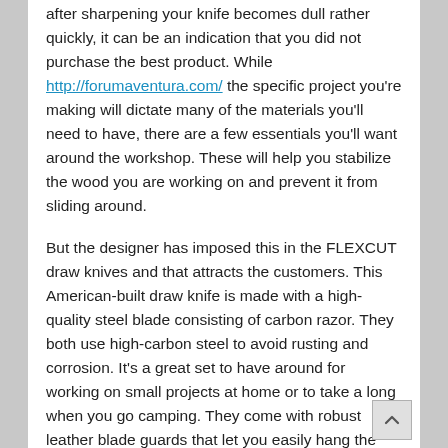after sharpening your knife becomes dull rather quickly, it can be an indication that you did not purchase the best product. While http://forumaventura.com/ the specific project you're making will dictate many of the materials you'll need to have, there are a few essentials you'll want around the workshop. These will help you stabilize the wood you are working on and prevent it from sliding around.
But the designer has imposed this in the FLEXCUT draw knives and that attracts the customers. This American-built draw knife is made with a high-quality steel blade consisting of carbon razor. They both use high-carbon steel to avoid rusting and corrosion. It's a great set to have around for working on small projects at home or to take a long when you go camping. They come with robust leather blade guards that let you easily hang the knives safely – it's a top pick for the best draw knife for the money. There is a brass ferrule where the handle meets the blade.